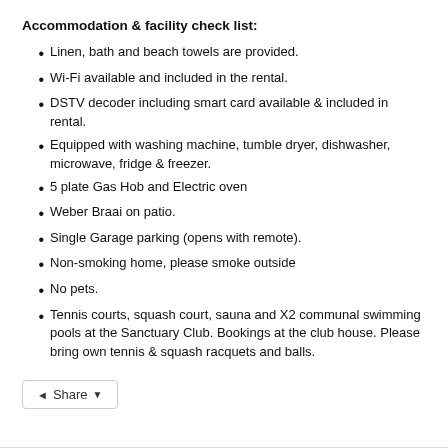Accommodation & facility check list:
Linen, bath and beach towels are provided.
Wi-Fi available and included in the rental.
DSTV decoder including smart card available & included in rental.
Equipped with washing machine, tumble dryer, dishwasher, microwave, fridge & freezer.
5 plate Gas Hob and Electric oven
Weber Braai on patio.
Single Garage parking (opens with remote).
Non-smoking home, please smoke outside
No pets.
Tennis courts, squash court, sauna and X2 communal swimming pools at the Sanctuary Club. Bookings at the club house. Please bring own tennis & squash racquets and balls.